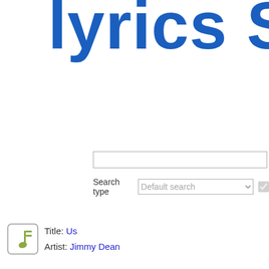Lyrics Sear...
[Figure (screenshot): Search input box]
Search type  Default search  [checkbox] E
Title: Us
Artist: Jimmy Dean
*J
Yo
Yo
Yo
W
W
W
W